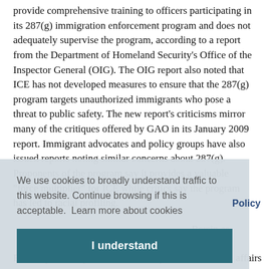provide comprehensive training to officers participating in its 287(g) immigration enforcement program and does not adequately supervise the program, according to a report from the Department of Homeland Security's Office of the Inspector General (OIG). The OIG report also noted that ICE has not developed measures to ensure that the 287(g) program targets unauthorized immigrants who pose a threat to public safety. The new report's criticisms mirror many of the critiques offered by GAO in its January 2009 report. Immigrant advocates and policy groups have also issued reports noting similar concerns about 287(g). Proponents of the program say it provides a valuable "force multiplier" for ICE while critics say the program has led to racial profiling.
We use cookies to broadly understand traffic to this website. Continue browsing if this is acceptable.  Learn more about cookies
I understand
Policy
Bersin as protecting ade.
Bersin, previously assistant secretary for international affairs and special